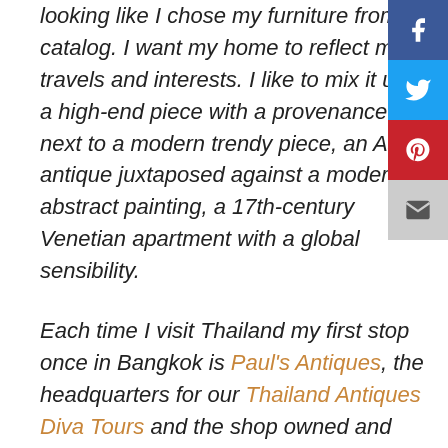looking like I chose my furniture from a catalog. I want my home to reflect my travels and interests. I like to mix it up: a high-end piece with a provenance next to a modern trendy piece, an Asian antique juxtaposed against a modern abstract painting, a 17th-century Venetian apartment with a global sensibility.
Each time I visit Thailand my first stop once in Bangkok is Paul's Antiques, the headquarters for our Thailand Antiques Diva Tours and the shop owned and operated by